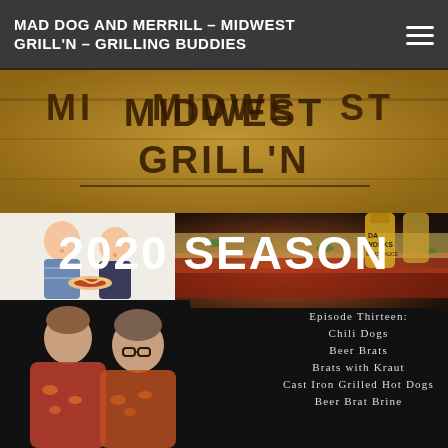MAD DOG AND MERRILL – MIDWEST GRILL'N – GRILLING BUDDIES
[Figure (photo): Close-up of a wooden cutting board branded with 'MIDWEST GRILL'N' burned lettering on a golden-brown background]
[Figure (illustration): Cartoon illustration of two men, one holding a hot dog]
[Figure (photo): Photo of grilled hot dogs loaded with chili and toppings, with 'Da Works' sauce bottle visible in background]
[Figure (photo): Dark panel showing two men in Hawaiian shirts — the hosts of Midwest Grill'N]
2020 SEASON
Episode Thirteen:
Chili Dogs
Beer Brats
Brats with Kraut
Cast Iron Grilled Hot Dogs
Beer Brat Brine